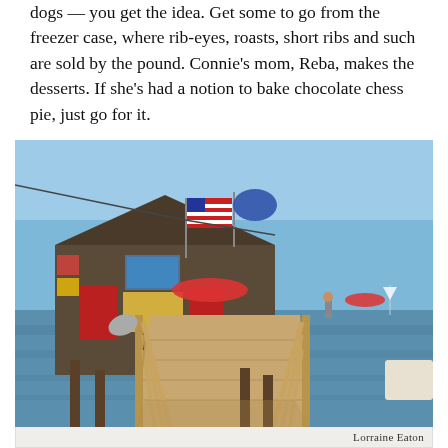dogs — you get the idea. Get some to go from the freezer case, where rib-eyes, roasts, short ribs and such are sold by the pound. Connie's mom, Reba, makes the desserts. If she's had a notion to bake chocolate chess pie, just go for it.
[Figure (photo): A weathered wooden building on a pier over water, with an American flag and a blue state flag flying. A long wooden boardwalk leads to the building. Red awnings and various signs are visible on the building front. The water and a clear sky are in the background.]
Lorraine Eaton